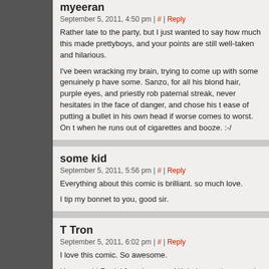myeeran
September 5, 2011, 4:50 pm | # | Reply
Rather late to the party, but I just wanted to say how much this made prettyboys, and your points are still well-taken and hilarious.

I've been wracking my brain, trying to come up with some genuinely p have some. Sanzo, for all his blond hair, purple eyes, and priestly rob paternal streak, never hesitates in the face of danger, and chose his t ease of putting a bullet in his own head if worse comes to worst. On t when he runs out of cigarettes and booze. :-/
some kid
September 5, 2011, 5:56 pm | # | Reply
Everything about this comic is brilliant. so much love.

I tip my bonnet to you, good sir.
T Tron
September 5, 2011, 6:02 pm | # | Reply
I love this comic. So awesome.

Hey, would Raziel from Legacy of Kain be macho enough to belong t
Random Passerby